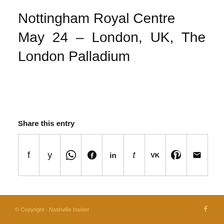Nottingham Royal Centre
May 24 – London, UK, The London Palladium
Share this entry
[Figure (other): Social share buttons row with icons for Facebook, Twitter, WhatsApp, Pinterest, LinkedIn, Tumblr, VK, Reddit, and Email]
© Copyright - Nashville Insider